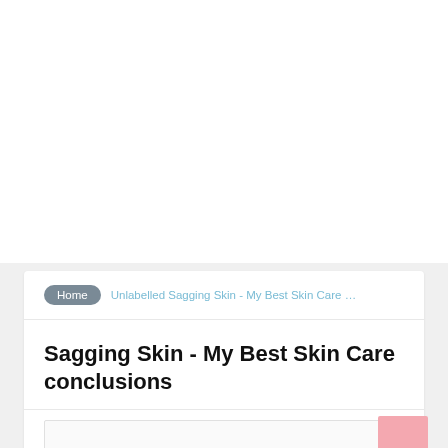Home  Unlabelled Sagging Skin - My Best Skin Care …
Sagging Skin - My Best Skin Care conclusions